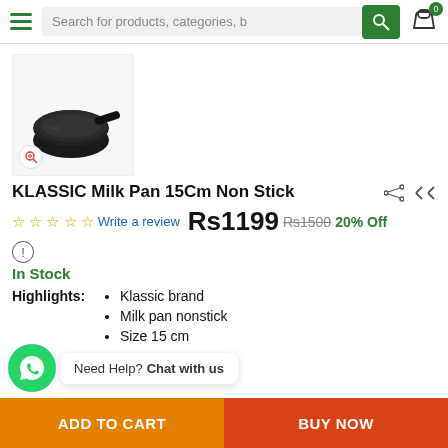Search for products, categories, b
[Figure (photo): Black non-stick milk pan with long handle, Klassic brand, 15cm]
KLASSIC Milk Pan 15Cm Non Stick
☆☆☆☆☆ Write a review  Rs1199  Rs1500  20% Off
In Stock
Highlights:
Klassic brand
Milk pan nonstick
Size 15 cm
Need Help? Chat with us
ADD TO CART   BUY NOW